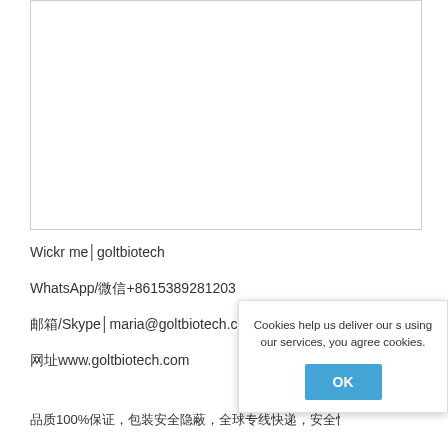[Figure (other): White rectangular box with border, empty content area at top of page]
Wickr me│goltbiotech
WhatsApp/微信+8615389281203
邮筱/Skype│maria@goltbiotech.com
网址www.goltbiotech.com
品质100%保证，包装安全隐蓐，全球专线快递，安全快速到货
Cookies help us deliver our s using our services, you agree cookies.
OK